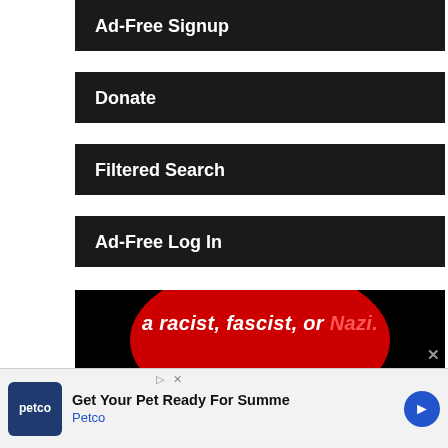Ad-Free Signup
Donate
Filtered Search
Ad-Free Log In
[Figure (screenshot): Black background with large red circle. White and red italic text reading: a racist, fascist, or Nazi.]
The false meme shows a photo of a young Gröning in his SS uniform and erroneously identifies the man as George Soros, the billionaire whose funding of progressive causes has made him a target of conservative scorn.
“This is George Soros,” the meme reads. “Remember this the next time the Soros funded liberals call you a racist
[Figure (screenshot): Petco advertisement: Get Your Pet Ready For Summer - Petco, with play button and blue arrow icon]